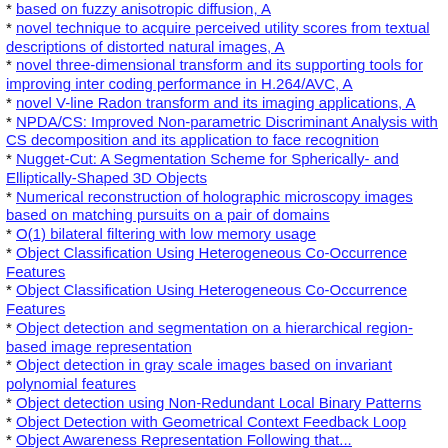based on fuzzy anisotropic diffusion, A
novel technique to acquire perceived utility scores from textual descriptions of distorted natural images, A
novel three-dimensional transform and its supporting tools for improving inter coding performance in H.264/AVC, A
novel V-line Radon transform and its imaging applications, A
NPDA/CS: Improved Non-parametric Discriminant Analysis with CS decomposition and its application to face recognition
Nugget-Cut: A Segmentation Scheme for Spherically- and Elliptically-Shaped 3D Objects
Numerical reconstruction of holographic microscopy images based on matching pursuits on a pair of domains
O(1) bilateral filtering with low memory usage
Object Classification Using Heterogeneous Co-Occurrence Features
Object Classification Using Heterogeneous Co-Occurrence Features
Object detection and segmentation on a hierarchical region-based image representation
Object detection in gray scale images based on invariant polynomial features
Object detection using Non-Redundant Local Binary Patterns
Object Detection with Geometrical Context Feedback Loop
Object Awareness Representation Following that...